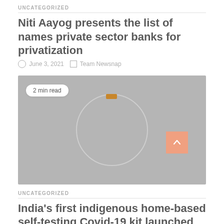UNCATEGORIZED
Niti Aayog presents the list of names private sector banks for privatization
June 3, 2021   Team Newsnap
[Figure (photo): Gray placeholder image with a loading circle spinner and orange accent, labeled '2 min read' badge in top left]
UNCATEGORIZED
India's first indigenous home-based self-testing Covid-19 kit launched commercially